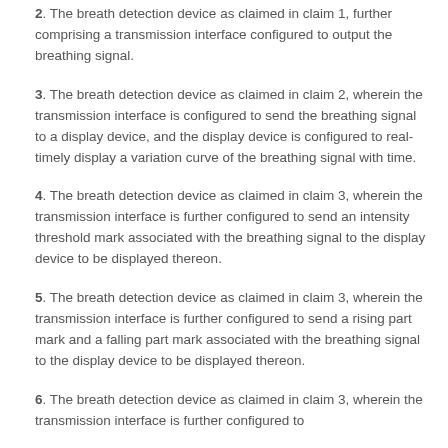2. The breath detection device as claimed in claim 1, further comprising a transmission interface configured to output the breathing signal.
3. The breath detection device as claimed in claim 2, wherein the transmission interface is configured to send the breathing signal to a display device, and the display device is configured to real-timely display a variation curve of the breathing signal with time.
4. The breath detection device as claimed in claim 3, wherein the transmission interface is further configured to send an intensity threshold mark associated with the breathing signal to the display device to be displayed thereon.
5. The breath detection device as claimed in claim 3, wherein the transmission interface is further configured to send a rising part mark and a falling part mark associated with the breathing signal to the display device to be displayed thereon.
6. The breath detection device as claimed in claim 3, wherein the transmission interface is further configured to